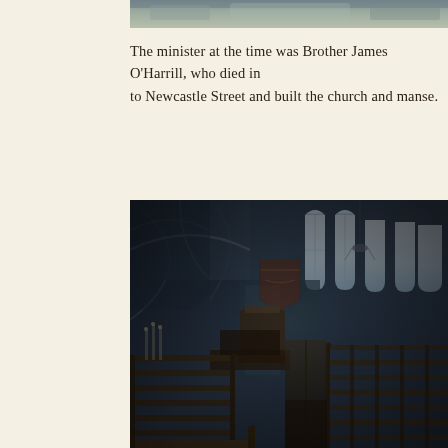[Figure (photo): Top portion of a historic photograph, partially visible at top of page]
The minister at the time was Brother James O'Harrill, who died in to Newcastle Street and built the church and manse.
[Figure (photo): Historic black and white interior photograph of a church showing wooden pews in the foreground, a pulpit area, Gothic arched windows with stained glass, and vaulted ceiling architecture]